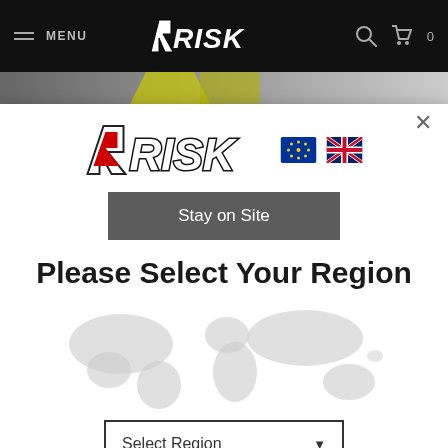[Figure (screenshot): Website navigation bar with hamburger menu, RISK Racing logo, search icon, and cart with 0 items, on dark background]
[Figure (photo): Partial hero image showing a motocross rider in yellow and black gear]
[Figure (screenshot): Modal dialog showing RISK Racing logo with EU and UK flags, Stay on Site button, Please Select Your Region heading, world map graphic, and Select Region dropdown]
Stay on Site
Please Select Your Region
Select Region